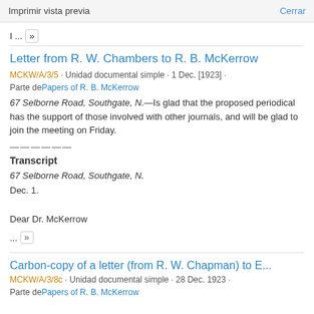Imprimir vista previa   Cerrar
I ... »
Letter from R. W. Chambers to R. B. McKerrow
MCKW/A/3/5 · Unidad documental simple · 1 Dec. [1923] · Parte de Papers of R. B. McKerrow
67 Selborne Road, Southgate, N.—Is glad that the proposed periodical has the support of those involved with other journals, and will be glad to join the meeting on Friday.
——————
Transcript
67 Selborne Road, Southgate, N.
Dec. 1.

Dear Dr. McKerrow
... »
Carbon-copy of a letter (from R. W. Chapman) to E...
MCKW/A/3/8c · Unidad documental simple · 28 Dec. 1923 · Parte de Papers of R. B. McKerrow